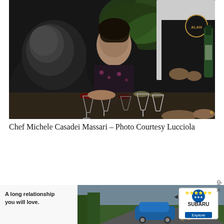[Figure (photo): A dimly lit restaurant dinner scene. In the foreground is a bald man in dark clothing. Across from him is a woman in a floral dress, slightly smiling, looking down. A server in a white shirt and black apron stands behind, holding a wine bottle. The table has multiple wine glasses filled with red and white wine, along with dishes and glassware. Lush green plants are visible in the background.]
Chef Michele Casadei Massari – Photo Courtesy Lucciola
[Figure (photo): Advertisement banner for Subaru with text 'A long relationship you will love.' showing a blue Subaru car on a forest road with a person and dog. Subaru logo with 'Explore' button on the right side.]